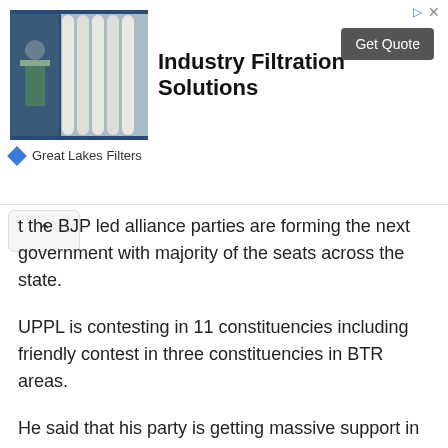[Figure (photo): Industrial filtration equipment — stacked white filter tubes in a blue metal frame]
Industry Filtration Solutions
Get Quote
Great Lakes Filters
t the BJP led alliance parties are forming the next government with majority of the seats across the state.
UPPL is contesting in 11 constituencies including friendly contest in three constituencies in BTR areas.
He said that his party is getting massive support in the upcoming assembly elections as UPPL led coalition government is working for the welfare and development of the common masses.
He said that there would be no impact of the Congress led Mahajoth in the BTR districts people irrespective of community and organisations have